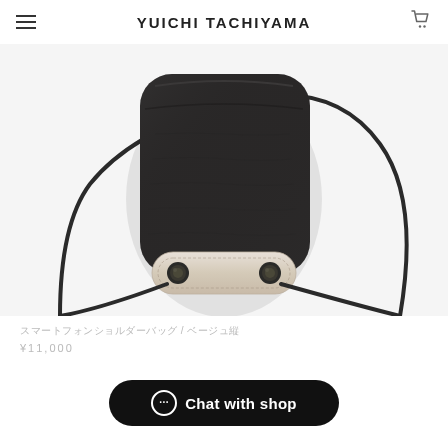YUICHI TACHIYAMA
[Figure (photo): A black leather pouch bag with a long dark cord/strap and a beige/cream leather rectangular clasp/adjuster piece with two black metal rivets/snaps, photographed from above on a white background.]
スマートフォンショルダーバッグ / ベージュ縦
¥11,000
Chat with shop